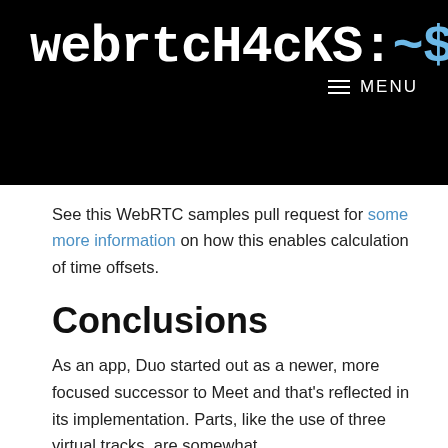webrtcH4cKS:~$ [logo block]
See this WebRTC samples pull request for some more information on how this enables calculation of time offsets.
Conclusions
As an app, Duo started out as a newer, more focused successor to Meet and that's reflected in its implementation. Parts, like the use of three virtual tracks, are somewhat